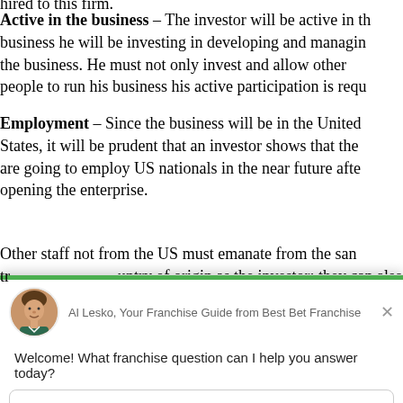Active in the business – The investor will be active in the business he will be investing in developing and managing the business. He must not only invest and allow other people to run his business his active participation is required.
Employment – Since the business will be in the United States, it will be prudent that an investor shows that they are going to employ US nationals in the near future after opening the enterprise.
Other staff not from the US must emanate from the same country of origin as the investor; they can also be
[Figure (screenshot): Chat widget overlay from Best Bet Franchise showing Al Lesko as Franchise Guide. Contains avatar photo, name label, close button, welcome message, reply input field, and 'Chat by Drift' footer.]